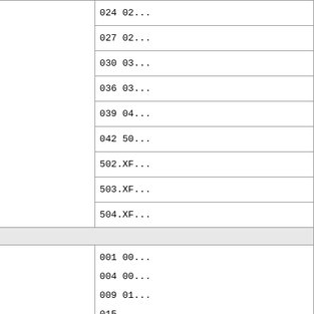| Section | Count | Items |
| --- | --- | --- |
|  |  | 024 02... |
|  |  | 027 02... |
|  |  | 030 03... |
|  |  | 036 03... |
|  |  | 039 04... |
|  |  | 042 50... |
|  |  | 502.XF... |
|  |  | 503.XF... |
|  |  | 504.XF... |
| Chapter 1: Functions and Graphs |  |  |
| 1.PS | 10 | 001 00...
004 00...
009 01...
015 |
| 1.T | 21 | 001 00...
006 00...
009 0... |